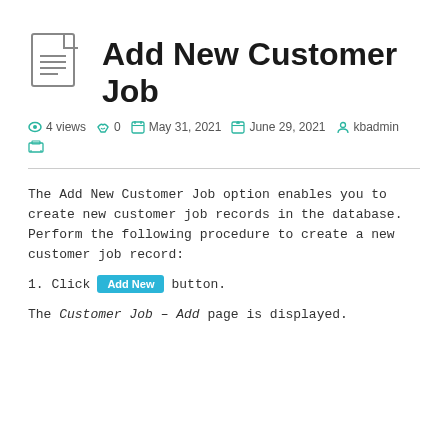Add New Customer Job
4 views  0  May 31, 2021  June 29, 2021  kbadmin
The Add New Customer Job option enables you to create new customer job records in the database. Perform the following procedure to create a new customer job record:
1. Click Add New button.
The Customer Job – Add page is displayed.